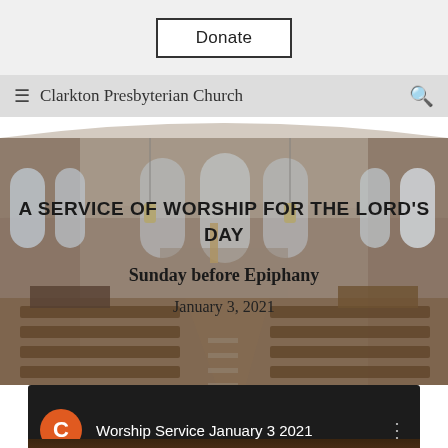Donate
Clarkton Presbyterian Church
[Figure (photo): Interior of Clarkton Presbyterian Church showing pews, altar, stained glass windows, and pendant lighting]
A SERVICE OF WORSHIP FOR THE LORD'S DAY
Sunday before Epiphany
January 3, 2021
[Figure (screenshot): YouTube video thumbnail showing 'Worship Service January 3 2021' with orange C icon]